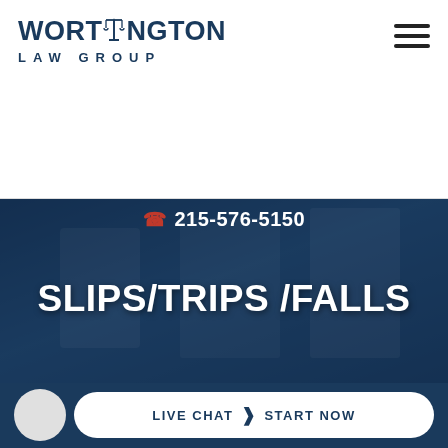[Figure (logo): Worthington Law Group logo with scales of justice icon]
[Figure (other): Hamburger menu icon (three horizontal lines)]
[Figure (photo): Dark blue banner with background photo overlay showing street scene]
215-576-5150
SLIPS/TRIPS /FALLS
The failure by a homeowner, business owner or even the government to maintain premises can lead to serious injury or even death.
[Figure (other): Live Chat / Start Now button bar at bottom of page]